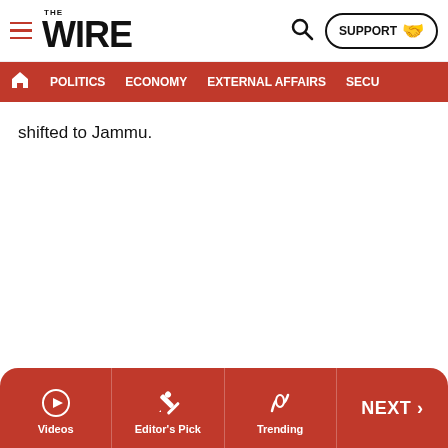THE WIRE — SUPPORT | POLITICS | ECONOMY | EXTERNAL AFFAIRS | SECU...
shifted to Jammu.
Videos | Editor's Pick | Trending | NEXT >